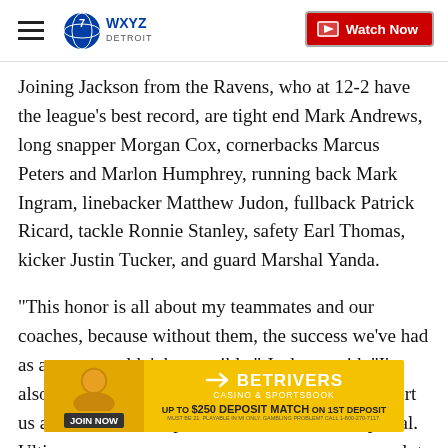WXYZ Detroit — Watch Now
Joining Jackson from the Ravens, who at 12-2 have the league's best record, are tight end Mark Andrews, long snapper Morgan Cox, cornerbacks Marcus Peters and Marlon Humphrey, running back Mark Ingram, linebacker Matthew Judon, fullback Patrick Ricard, tackle Ronnie Stanley, safety Earl Thomas, kicker Justin Tucker, and guard Marshal Yanda.
"This honor is all about my teammates and our coaches, because without them, the success we've had as a team wouldn't be possible," Jackson said. "I'm also grateful for all the fans who continue to support us and who have helped make this season so special. Ultimately, there's still a lot of work to go before we accomplish our biggest goals."
[Figure (other): BetRivers Casino & Sportsbook advertisement banner — Join Now, Up to $250 Deposit Match on 1st Deposit]